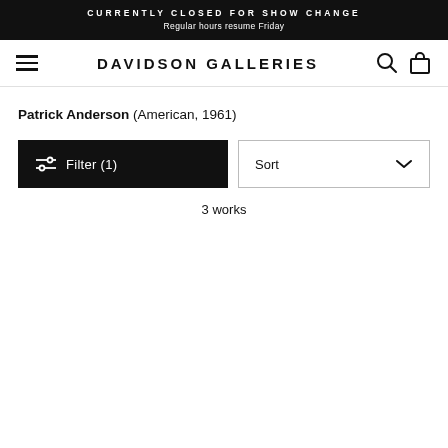CURRENTLY CLOSED FOR SHOW CHANGE
Regular hours resume Friday
DAVIDSON GALLERIES
Patrick Anderson (American, 1961)
Filter (1)
Sort
3 works